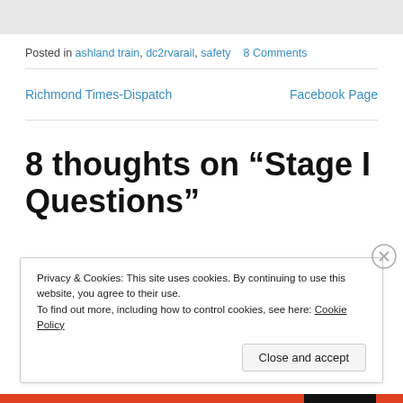Posted in ashland train, dc2rvarail, safety   8 Comments
Richmond Times-Dispatch
Facebook Page
8 thoughts on “Stage I Questions”
Privacy & Cookies: This site uses cookies. By continuing to use this website, you agree to their use.
To find out more, including how to control cookies, see here: Cookie Policy
Close and accept